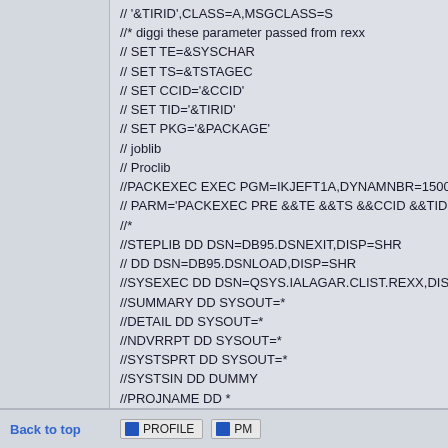// '&TIRID',CLASS=A,MSGCLASS=S
//* diggi these parameter passed from rexx
// SET TE=&SYSCHAR
// SET TS=&TSTAGEC
// SET CCID='&CCID'
// SET TID='&TIRID'
// SET PKG='&PACKAGE'
// joblib
// Proclib
//PACKEXEC EXEC PGM=IKJEFT1A,DYNAMNBR=1500,RE
// PARM='PACKEXEC PRE &&TE &&TS &&CCID &&TID &&P
//*
//STEPLIB DD DSN=DB95.DSNEXIT,DISP=SHR
// DD DSN=DB95.DSNLOAD,DISP=SHR
//SYSEXEC DD DSN=QSYS.IALAGAR.CLIST.REXX,DISP=S
//SUMMARY DD SYSOUT=*
//DETAIL DD SYSOUT=*
//NDVRRPT DD SYSOUT=*
//SYSTSPRT DD SYSOUT=*
//SYSTSIN DD DUMMY
//PROJNAME DD *
&PROJNAME
//*
Back to top | PROFILE | PM